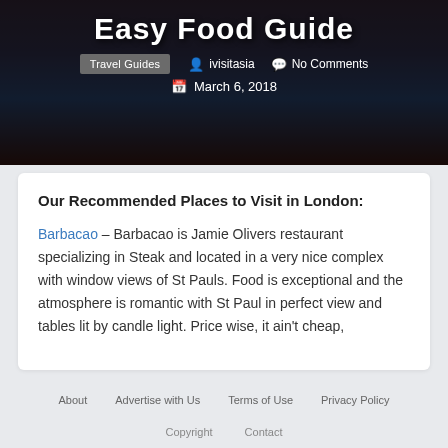Easy Food Guide
Travel Guides  ivisitasia  No Comments  March 6, 2018
Our Recommended Places to Visit in London:
Barbacao – Barbacao is Jamie Olivers restaurant specializing in Steak and located in a very nice complex with window views of St Pauls. Food is exceptional and the atmosphere is romantic with St Paul in perfect view and tables lit by candle light. Price wise, it ain't cheap,
About  Advertise with Us  Terms of Use  Privacy Policy
Copyright  Contact